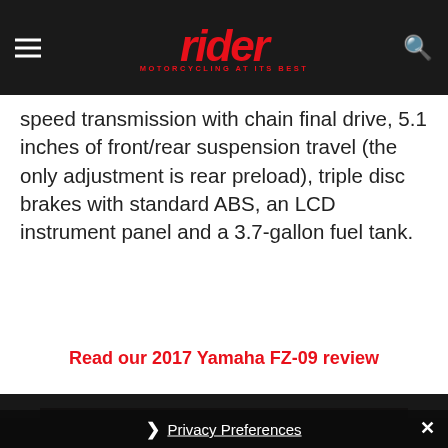rider — MOTORCYCLING AT ITS BEST
speed transmission with chain final drive, 5.1 inches of front/rear suspension travel (the only adjustment is rear preload), triple disc brakes with standard ABS, an LCD instrument panel and a 3.7-gallon fuel tank.
Read our 2017 Yamaha FZ-09 review
[Figure (photo): Motorcycle chassis/engine detail photo, partially visible behind privacy overlay]
[Figure (screenshot): Privacy consent overlay with 'Privacy Preferences' link and 'I Agree' button on dark background]